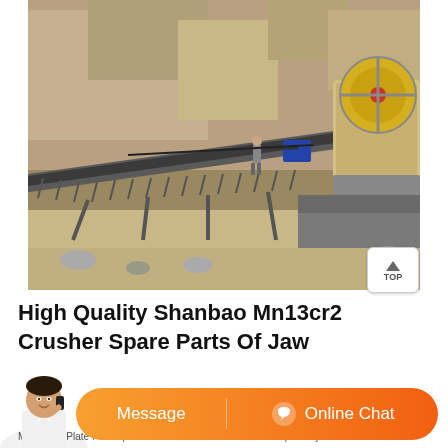[Figure (photo): Outdoor mining/quarry site showing a conveyor belt system and jaw crusher machine. A worker stands on the conveyor. Rocky terrain and a large jaw crusher with flywheel visible on the right.]
High Quality Shanbao Mn13cr2 Crusher Spare Parts Of Jaw
[Figure (photo): Customer service avatar - a woman in white shirt holding a phone to her ear]
Message   Online Chat
Mn13 Jaw Plate For Replacement Jaw are is the main wear part of jaw